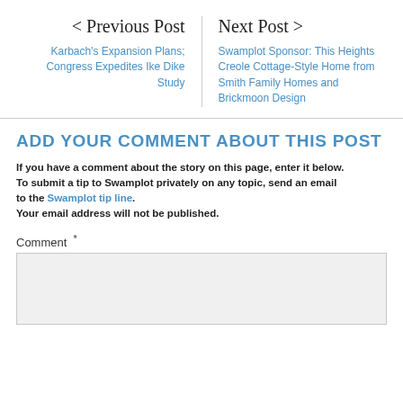< Previous Post
Karbach’s Expansion Plans; Congress Expedites Ike Dike Study
Next Post >
Swamplot Sponsor: This Heights Creole Cottage-Style Home from Smith Family Homes and Brickmoon Design
ADD YOUR COMMENT ABOUT THIS POST
If you have a comment about the story on this page, enter it below. To submit a tip to Swamplot privately on any topic, send an email to the Swamplot tip line.
Your email address will not be published.
Comment *